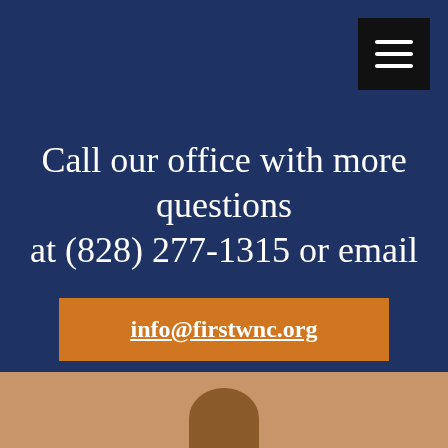[Figure (screenshot): Dark navy blue background section of a website with a black hamburger menu button in the upper right corner]
Call our office with more questions at (828) 277-1315 or email
info@firstwnc.org
[Figure (photo): Tan/sandy background section at the bottom with the top of a person's head (silhouette) visible]